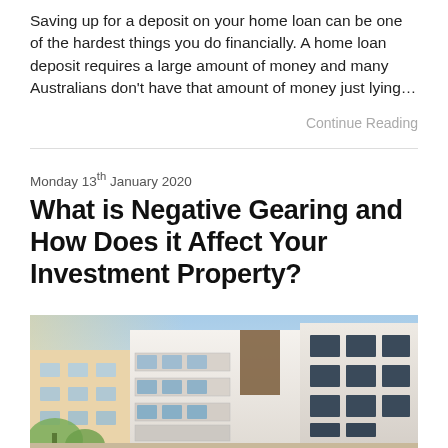Saving up for a deposit on your home loan can be one of the hardest things you do financially. A home loan deposit requires a large amount of money and many Australians don't have that amount of money just lying…
Continue Reading
Monday 13th January 2020
What is Negative Gearing and How Does it Affect Your Investment Property?
[Figure (photo): Exterior photo of modern white apartment buildings with balconies under a blue sky, with trees in the foreground]